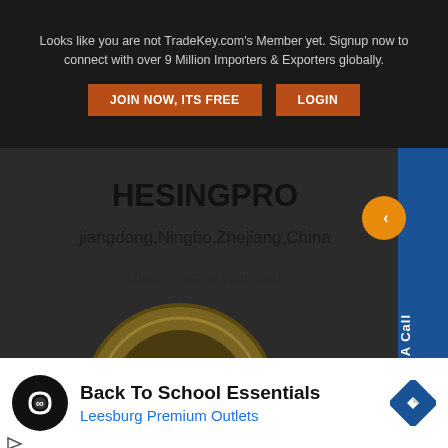Looks like you are not TradeKey.com's Member yet. Signup now to connect with over 9 Million Importers & Exporters globally. JOIN NOW, ITS FREE  LOGIN
HESINGPRO
jiangdong,Ningbo,Zhejiang,China
View Phone Number
[Figure (logo): GoldKey circular logo with handshake icon on dark background]
[Figure (screenshot): Book A Call sidebar button with orange arrow]
[Figure (screenshot): Collapse chevron button]
Back To School Essentials
Leesburg Premium Outlets